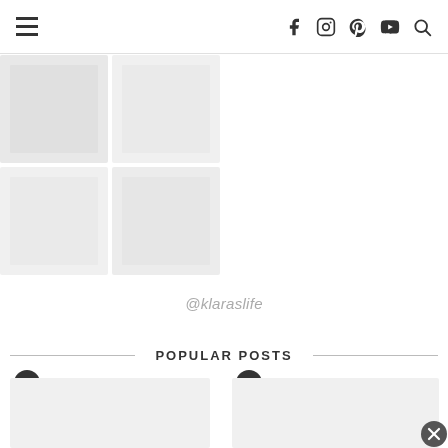Navigation bar with hamburger menu and social icons (Facebook, Instagram, Pinterest, YouTube, Search)
[Figure (photo): Faded/blurred Instagram photo grid collage in upper left area]
@klaraslife
POPULAR POSTS
[Figure (photo): Popular post thumbnail 1 with numbered badge showing 1]
[Figure (photo): Popular post thumbnail 2 with numbered badge showing 2]